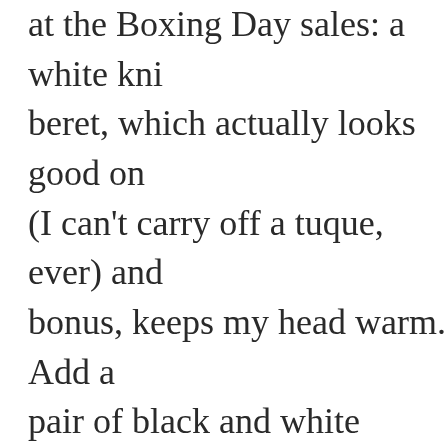at the Boxing Day sales: a white knit beret, which actually looks good on (I can't carry off a tuque, ever) and bonus, keeps my head warm. Add a pair of black and white Nordic print fingerless mitts, usually worn overtop my black leather driving gloves, and when I go out I feel chic as well as c
So, overall my approach this winter been, cuddly knits to the max, for